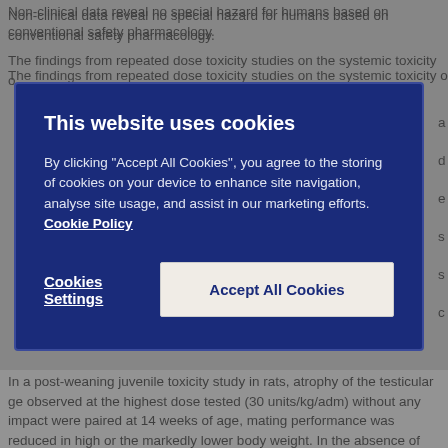Non-clinical data reveal no special hazard for humans based on conventional safety pharmacology.
The findings from repeated dose toxicity studies on the systemic toxicity of...
[Figure (screenshot): Cookie consent modal overlay with dark blue background. Title: 'This website uses cookies'. Body text: 'By clicking "Accept All Cookies", you agree to the storing of cookies on your device to enhance site navigation, analyse site usage, and assist in our marketing efforts. Cookie Policy'. Two buttons: 'Cookies Settings' (text link) and 'Accept All Cookies' (white button).]
In a post-weaning juvenile toxicity study in rats, atrophy of the testicular ge observed at the highest dose tested (30 units/kg/adm) without any impact were paired at 14 weeks of age, mating performance was reduced in high or the markedly lower body weight. In the absence of any effect on the me loss was increased at 10 units/kg/adm and above. Whether this finding wa be conclusively clarified.
Accordingly, safety margins with regard to clinical therapy were generally l
No genotoxicity or carcinogenicity studies have been conducted with XEO
6. Pharmaceutical particulars
6.1 List of excipients